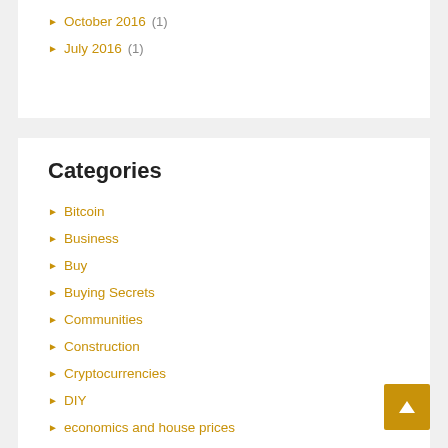October 2016 (1)
July 2016 (1)
Categories
Bitcoin
Business
Buy
Buying Secrets
Communities
Construction
Cryptocurrencies
DIY
economics and house prices
energy costs
energy prices
gas prices
Home Improvement